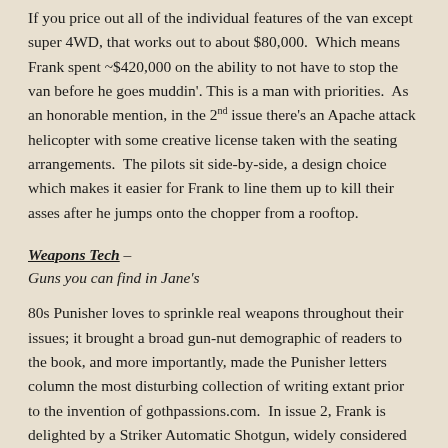If you price out all of the individual features of the van except super 4WD, that works out to about $80,000. Which means Frank spent ~$420,000 on the ability to not have to stop the van before he goes muddin'. This is a man with priorities. As an honorable mention, in the 2nd issue there's an Apache attack helicopter with some creative license taken with the seating arrangements. The pilots sit side-by-side, a design choice which makes it easier for Frank to line them up to kill their asses after he jumps onto the chopper from a rooftop.
Weapons Tech – Guns you can find in Jane's
80s Punisher loves to sprinkle real weapons throughout their issues; it brought a broad gun-nut demographic of readers to the book, and more importantly, made the Punisher letters column the most disturbing collection of writing extant prior to the invention of gothpassions.com. In issue 2, Frank is delighted by a Striker Automatic Shotgun, widely considered to be a total piece of shit by most of the poor South Africans who actually had to use it. You know why Frank boners over